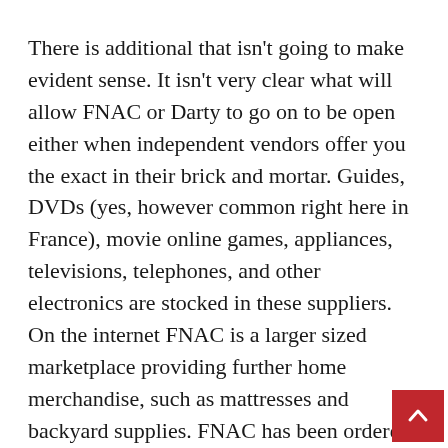There is additional that isn't going to make evident sense. It isn't very clear what will allow FNAC or Darty to go on to be open either when independent vendors offer you the exact in their brick and mortar. Guides, DVDs (yes, however common right here in France), movie online games, appliances, televisions, telephones, and other electronics are stocked in these suppliers. On the internet FNAC is a larger sized marketplace providing further home merchandise, such as mattresses and backyard supplies. FNAC has been ordered to stop marketing textbooks by why not other factors?
Closing down the booksellers also manufactured minor sense when universities continue being open. Usually, these local librairies, aka bookstores in French, are frequented through the 12 months as